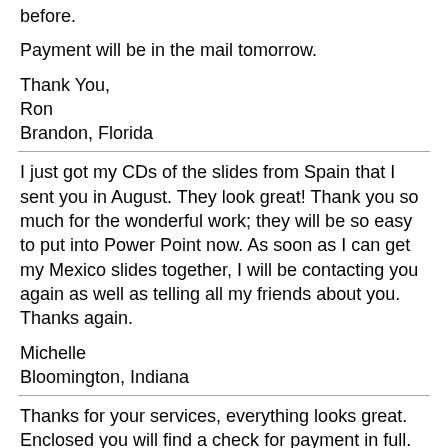before.
Payment will be in the mail tomorrow.
Thank You,
Ron
Brandon, Florida
I just got my CDs of the slides from Spain that I sent you in August. They look great! Thank you so much for the wonderful work; they will be so easy to put into Power Point now. As soon as I can get my Mexico slides together, I will be contacting you again as well as telling all my friends about you. Thanks again.
Michelle
Bloomington, Indiana
Thanks for your services, everything looks great. Enclosed you will find a check for payment in full. Please send the slides back to me a the address